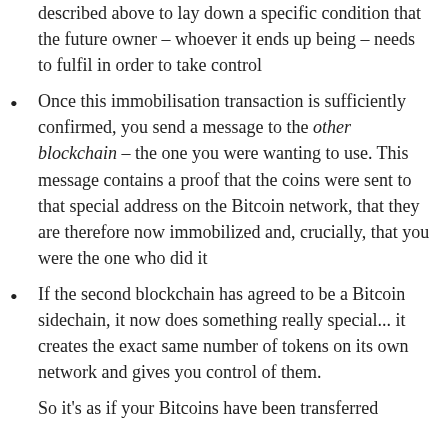described above to lay down a specific condition that the future owner – whoever it ends up being – needs to fulfil in order to take control
Once this immobilisation transaction is sufficiently confirmed, you send a message to the other blockchain – the one you were wanting to use. This message contains a proof that the coins were sent to that special address on the Bitcoin network, that they are therefore now immobilized and, crucially, that you were the one who did it
If the second blockchain has agreed to be a Bitcoin sidechain, it now does something really special... it creates the exact same number of tokens on its own network and gives you control of them.
So it's as if your Bitcoins have been transferred